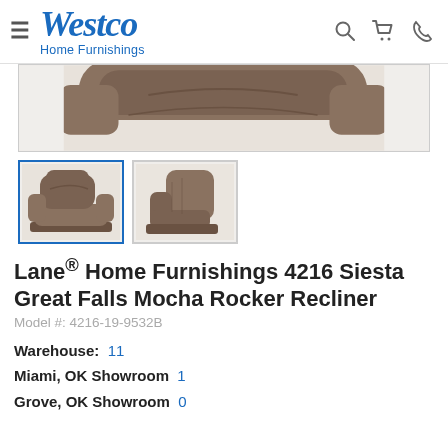Westco Home Furnishings
[Figure (photo): Close-up of a brown/mocha leather recliner chair top portion, cropped]
[Figure (photo): Thumbnail 1: full view of Lane 4216 Siesta Great Falls Mocha Rocker Recliner]
[Figure (photo): Thumbnail 2: side/back angle view of the recliner]
Lane® Home Furnishings 4216 Siesta Great Falls Mocha Rocker Recliner
Model #: 4216-19-9532B
Warehouse: 11
Miami, OK Showroom 1
Grove, OK Showroom 0